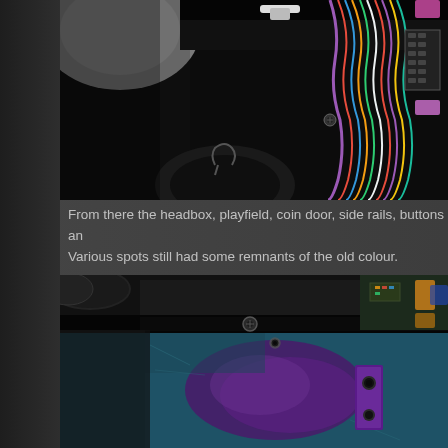[Figure (photo): Close-up photo of the interior of an arcade/pinball machine cabinet showing wiring harnesses, connectors, circuit boards, and a dark plastic housing. Bright light visible in upper left. Colorful wire bundles on the right side.]
From there the headbox, playfield, coin door, side rails, buttons an... Various spots still had some remnants of the old colour.
[Figure (photo): Close-up photo of a pinball machine cabinet side panel showing purple/violet metallic painted surface with hardware brackets and bolts. Old teal/blue paint colour still visible in areas, with purple painted metal bracket visible.]